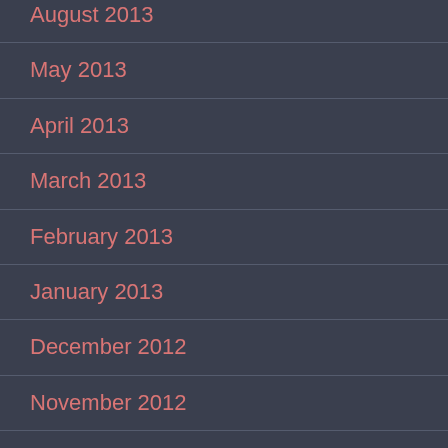August 2013
May 2013
April 2013
March 2013
February 2013
January 2013
December 2012
November 2012
October 2012
September 2012
July 2012